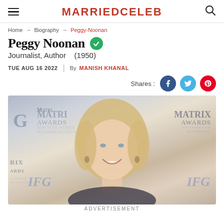MARRIEDCELEB
Home → Biography → Peggy-Noonan
Peggy Noonan
Journalist, Author   (1950)
TUE AUG 16 2022  |  By MANISH KHANAL
Shares:
[Figure (photo): Photo of Peggy Noonan at the Matrix Awards event, standing in front of a backdrop with Matrix Awards and IFG logos. She is a blonde woman smiling at the camera.]
ADVERTISEMENT